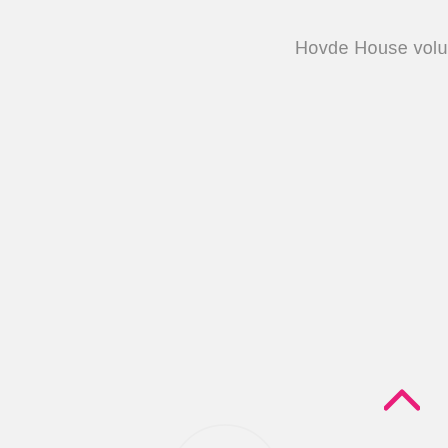Hovde House volunteers
[Figure (other): Faint circular loading or decorative graphic element in the center-lower portion of the page]
[Figure (other): Pink/magenta upward chevron arrow icon in the bottom-right corner]